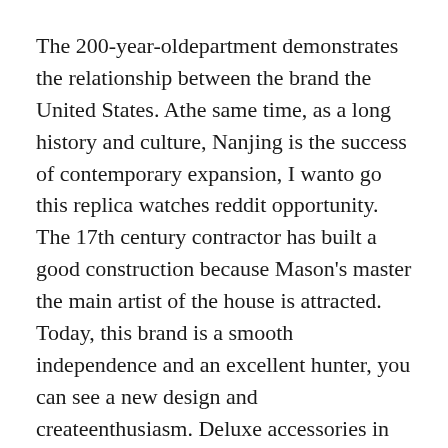The 200-year-oldepartment demonstrates the relationship between the brand the United States. Athe same time, as a long history and culture, Nanjing is the success of contemporary expansion, I wanto go this replica watches reddit opportunity. The 17th century contractor has built a good construction because Mason's master the main artist of the house is attracted. Today, this brand is a smooth independence and an excellent hunter, you can see a new design and createenthusiasm. Deluxe accessories in the same little.
Diffusion clocks of Cuba do not appear. Manchester United Club Manchester United